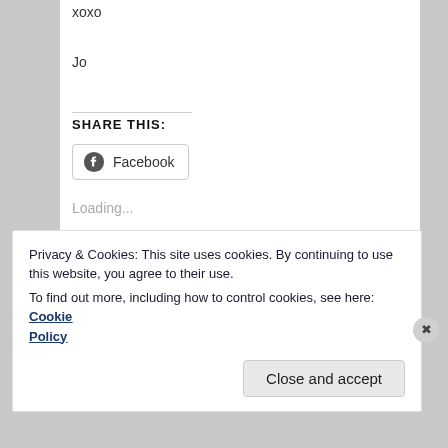xoxo
Jo
SHARE THIS:
[Figure (other): Facebook share button with Facebook logo icon]
Loading...
RELATED
Privacy & Cookies: This site uses cookies. By continuing to use this website, you agree to their use.
To find out more, including how to control cookies, see here: Cookie Policy
Close and accept